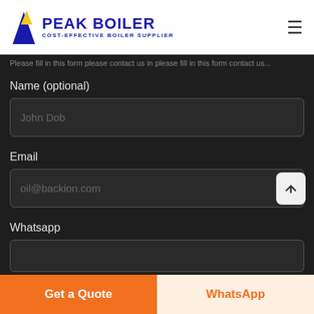PEAK BOILER — COST-EFFECTIVE BOILER SUPPLIER
Please fill in this form please contact us in [partial text cut off]
Name (optional)
John Dob
Email
oil@backion.com
Whatsapp
Get a Quote
WhatsApp